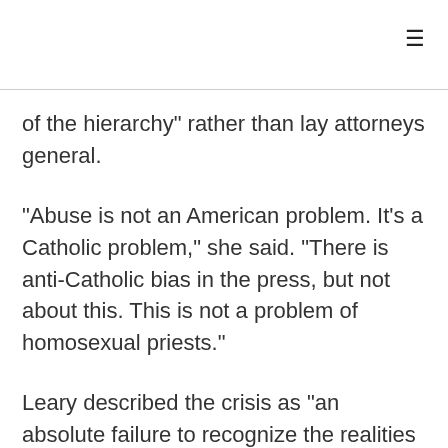of the hierarchy" rather than lay attorneys general.
"Abuse is not an American problem. It's a Catholic problem," she said. "There is anti-Catholic bias in the press, but not about this. This is not a problem of homosexual priests."
Leary described the crisis as "an absolute failure to recognize the realities of child sexual abuse," and she claimed this was compounded by lengthy cover-ups.
"That's the problem we're dealing with today," she